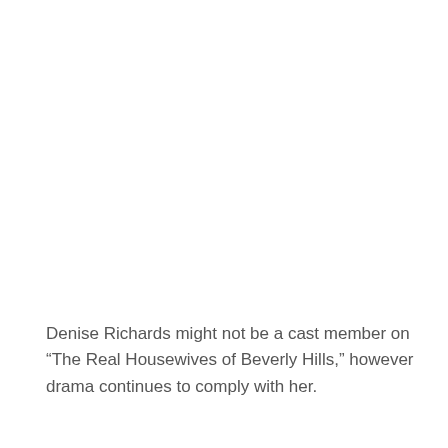Denise Richards might not be a cast member on “The Real Housewives of Beverly Hills,” however drama continues to comply with her.